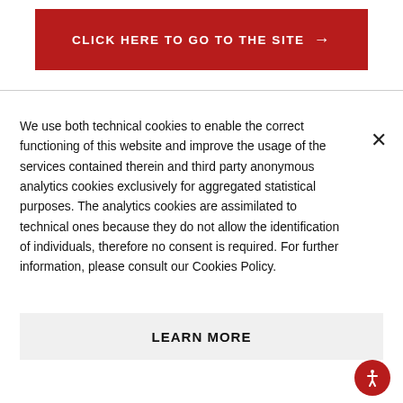[Figure (other): Red banner button with text CLICK HERE TO GO TO THE SITE and an arrow pointing right]
We use both technical cookies to enable the correct functioning of this website and improve the usage of the services contained therein and third party anonymous analytics cookies exclusively for aggregated statistical purposes. The analytics cookies are assimilated to technical ones because they do not allow the identification of individuals, therefore no consent is required. For further information, please consult our Cookies Policy.
[Figure (other): LEARN MORE button in light grey box]
[Figure (other): Red circular accessibility icon with person figure in white]